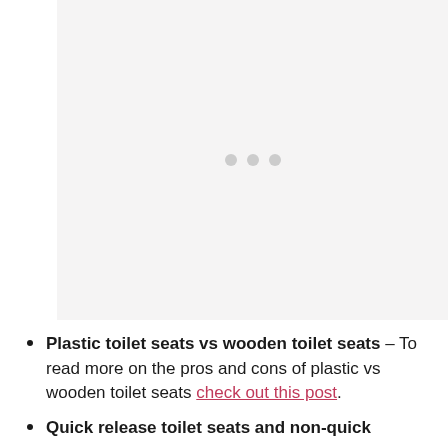[Figure (other): Loading placeholder image area with three grey dots centered, light grey background]
Plastic toilet seats vs wooden toilet seats – To read more on the pros and cons of plastic vs wooden toilet seats check out this post.
Quick release toilet seats and non-quick